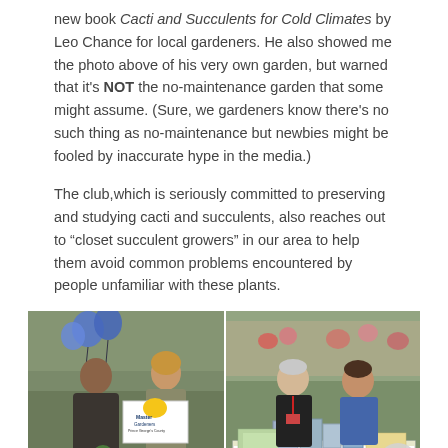new book Cacti and Succulents for Cold Climates by Leo Chance for local gardeners.  He also showed me the photo above of his very own garden, but warned that it's NOT the no-maintenance garden that some might assume.  (Sure, we gardeners know there's no such thing as no-maintenance but newbies might be fooled by inaccurate hype in the media.)
The club,which is seriously committed to preserving and studying cacti and succulents, also reaches out to “closet succulent growers” in our area to help them avoid common problems encountered by people unfamiliar with these plants.
[Figure (photo): Two side-by-side photos: Left photo shows two women at an outdoor garden event, one holding a Prince George's County Master Gardeners sign, with a potted plant arrangement in front. Right photo shows two women seated at a table at an outdoor event with books and materials displayed, and a Montgomery County sign/banner visible at the bottom.]